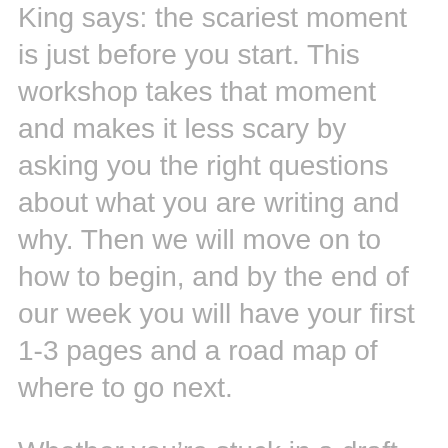King says: the scariest moment is just before you start. This workshop takes that moment and makes it less scary by asking you the right questions about what you are writing and why. Then we will move on to how to begin, and by the end of our week you will have your first 1-3 pages and a road map of where to go next.
Whether you’re stuck in a draft that isn’t working, having trouble organizing your story, or just unable to get started, this workshop will help you.
I will post points for discussion every morning. Your responses by 5:00 that same